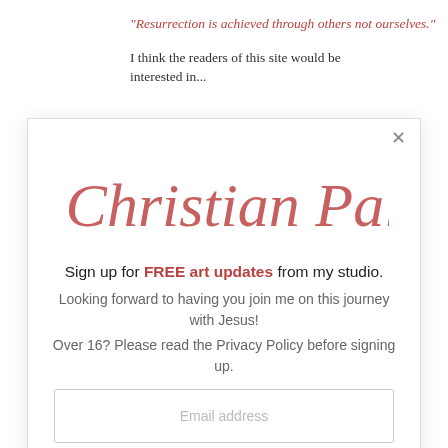"Resurrection is achieved through others not ourselves."
I think the readers of this site would be interested in...
[Figure (logo): The Christian Palette cursive script logo in dusty rose/coral color]
Sign up for FREE art updates from my studio.
Looking forward to having you join me on this journey with Jesus!
Over 16? Please read the Privacy Policy before signing up.
Email address
SUBSCRIBE